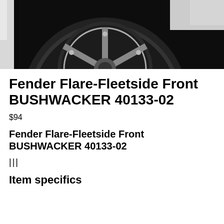[Figure (photo): Close-up photo of a truck wheel/tire with white fender flare and chrome wheel against dark background]
Fender Flare-Fleetside Front BUSHWACKER 40133-02
$94
Fender Flare-Fleetside Front BUSHWACKER 40133-02
|||
Item specifics